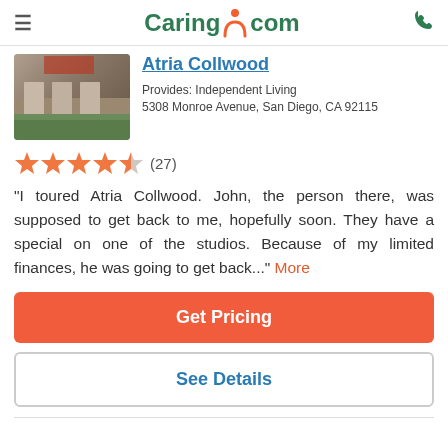Caring.com
Atria Collwood
Provides: Independent Living
5308 Monroe Avenue, San Diego, CA 92115
[Figure (other): Star rating: 4.5 out of 5 stars (27 reviews)]
"I toured Atria Collwood. John, the person there, was supposed to get back to me, hopefully soon. They have a special on one of the studios. Because of my limited finances, he was going to get back..." More
Get Pricing
See Details